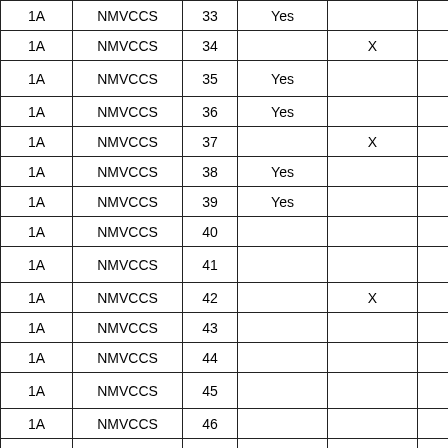| 1A | NMVCCS | 33 | Yes |  |  |
| 1A | NMVCCS | 34 |  | X |  |
| 1A | NMVCCS | 35 | Yes |  |  |
| 1A | NMVCCS | 36 | Yes |  |  |
| 1A | NMVCCS | 37 |  | X |  |
| 1A | NMVCCS | 38 | Yes |  |  |
| 1A | NMVCCS | 39 | Yes |  |  |
| 1A | NMVCCS | 40 |  |  |  |
| 1A | NMVCCS | 41 |  |  |  |
| 1A | NMVCCS | 42 |  | X |  |
| 1A | NMVCCS | 43 |  |  |  |
| 1A | NMVCCS | 44 |  |  |  |
| 1A | NMVCCS | 45 |  |  |  |
| 1A | NMVCCS | 46 |  |  |  |
| 1A | NMVCCS | 47 |  |  |  |